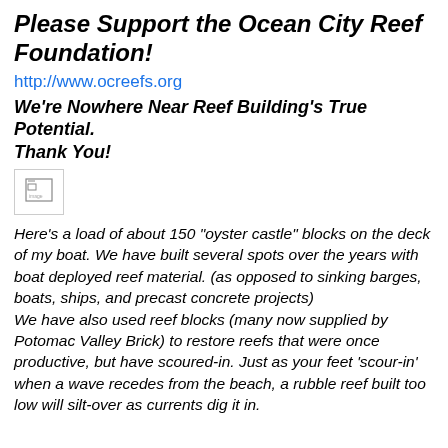Please Support the Ocean City Reef Foundation!
http://www.ocreefs.org
We're Nowhere Near Reef Building's True Potential.
Thank You!
[Figure (photo): Broken/missing image placeholder icon]
Here's a load of about 150 "oyster castle" blocks on the deck of my boat. We have built several spots over the years with boat deployed reef material. (as opposed to sinking barges, boats, ships, and precast concrete projects)
We have also used reef blocks (many now supplied by Potomac Valley Brick) to restore reefs that were once productive, but have scoured-in. Just as your feet 'scour-in' when a wave recedes from the beach, a rubble reef built too low will silt-over as currents dig it in.